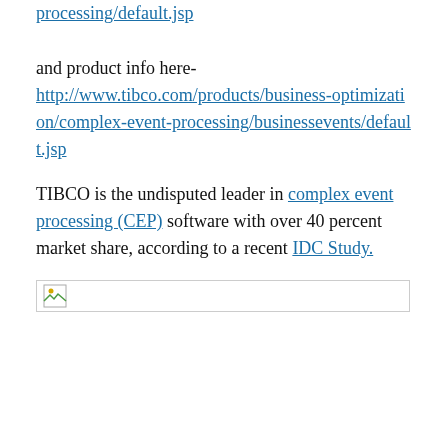processing/default.jsp
and product info here- http://www.tibco.com/products/business-optimization/complex-event-processing/businessevents/default.jsp
TIBCO is the undisputed leader in complex event processing (CEP) software with over 40 percent market share, according to a recent IDC Study.
[Figure (other): Broken/missing image placeholder with small image icon in top-left corner]